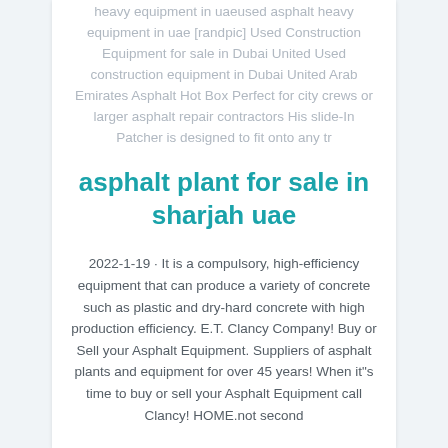heavy equipment in uaeused asphalt heavy equipment in uae [randpic] Used Construction Equipment for sale in Dubai United Used construction equipment in Dubai United Arab Emirates Asphalt Hot Box Perfect for city crews or larger asphalt repair contractors His slide-In Patcher is designed to fit onto any tr
asphalt plant for sale in sharjah uae
2022-1-19 · It is a compulsory, high-efficiency equipment that can produce a variety of concrete such as plastic and dry-hard concrete with high production efficiency. E.T. Clancy Company! Buy or Sell your Asphalt Equipment. Suppliers of asphalt plants and equipment for over 45 years! When it"s time to buy or sell your Asphalt Equipment call Clancy! HOME.not second